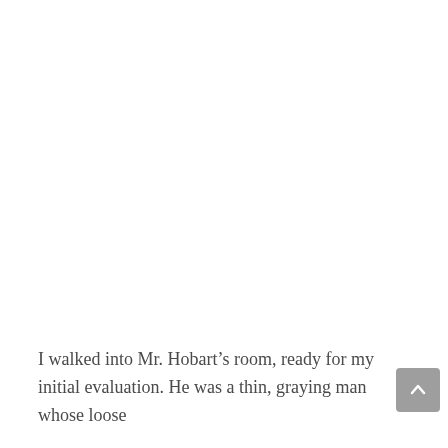I walked into Mr. Hobart’s room, ready for my initial evaluation. He was a thin, graying man whose loose